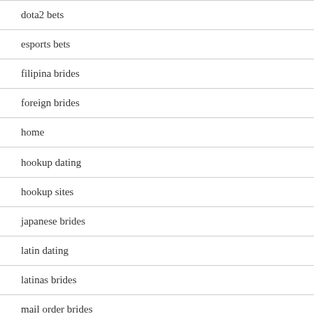dota2 bets
esports bets
filipina brides
foreign brides
home
hookup dating
hookup sites
japanese brides
latin dating
latinas brides
mail order brides